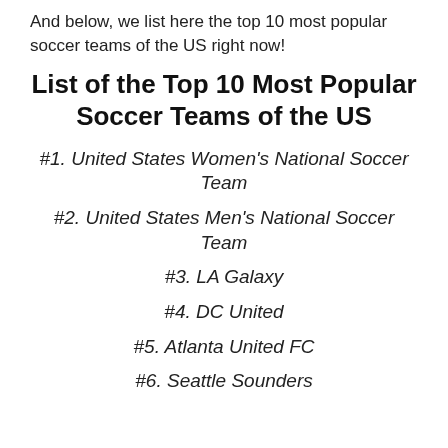And below, we list here the top 10 most popular soccer teams of the US right now!
List of the Top 10 Most Popular Soccer Teams of the US
#1. United States Women's National Soccer Team
#2. United States Men's National Soccer Team
#3. LA Galaxy
#4. DC United
#5. Atlanta United FC
#6. Seattle Sounders